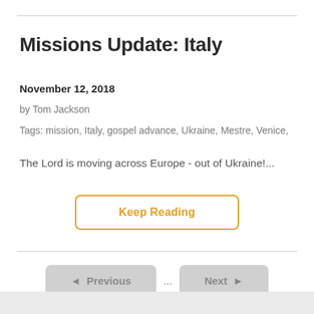Missions Update: Italy
November 12, 2018
by Tom Jackson
Tags: mission, Italy, gospel advance, Ukraine, Mestre, Venice,
The Lord is moving across Europe - out of Ukraine!...
Keep Reading
◄ Previous ... Next ►